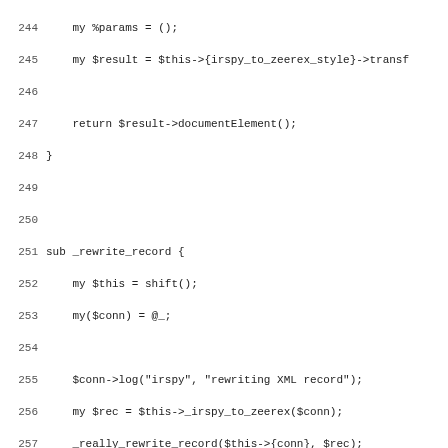Code listing lines 244-275, Perl source code showing _rewrite_record and _really_rewrite_record subroutines